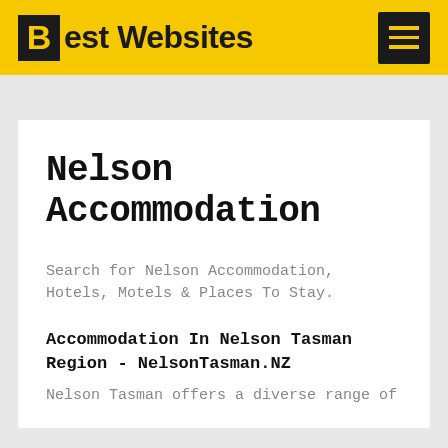Best Websites
Nelson Accommodation
Search for Nelson Accommodation, Hotels, Motels & Places To Stay.
Accommodation In Nelson Tasman Region - NelsonTasman.NZ
Nelson Tasman offers a diverse range of